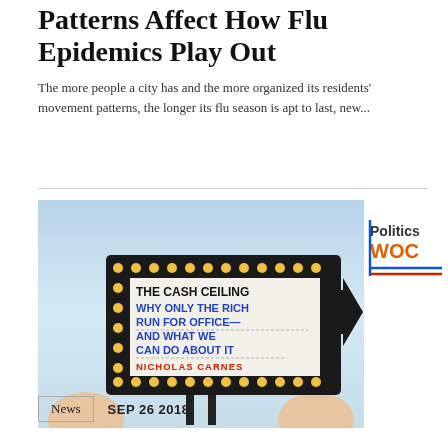Patterns Affect How Flu Epidemics Play Out
The more people a city has and the more organized its residents' movement patterns, the longer its flu season is apt to last, new...
[Figure (photo): Book cover of 'The Cash Ceiling: Why Only The Rich Run For Office—And What We Can Do About It' by Nicholas Carnes, shown being held by hands against a blue background, styled as a marquee sign.]
[Figure (logo): Politics WOC badge/logo with blue and red horizontal lines]
News
SEP 26 2018